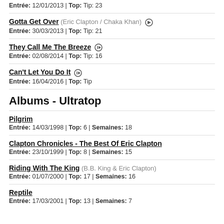Entrée: 12/01/2013 | Top: Tip: 23
Gotta Get Over (Eric Clapton / Chaka Khan) [play icon]
Entrée: 30/03/2013 | Top: Tip: 21
They Call Me The Breeze [play icon]
Entrée: 02/08/2014 | Top: Tip: 16
Can't Let You Do It [play icon]
Entrée: 16/04/2016 | Top: Tip
Albums - Ultratop
Pilgrim
Entrée: 14/03/1998 | Top: 6 | Semaines: 18
Clapton Chronicles - The Best Of Eric Clapton
Entrée: 23/10/1999 | Top: 8 | Semaines: 15
Riding With The King (B.B. King & Eric Clapton)
Entrée: 01/07/2000 | Top: 17 | Semaines: 16
Reptile
Entrée: 17/03/2001 | Top: 13 | Semaines: 7